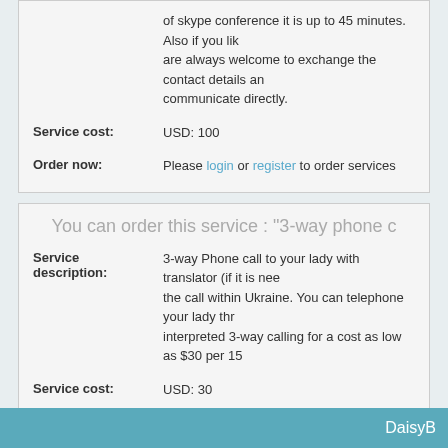of skype conference it is up to 45 minutes. Also if you like you are always welcome to exchange the contact details and communicate directly.
Service cost: USD: 100
Order now: Please login or register to order services
You can order this service : "3-way phone c..."
Service description: 3-way Phone call to your lady with translator (if it is needed) the call within Ukraine. You can telephone your lady through interpreted 3-way calling for a cost as low as $30 per 15...
Service cost: USD: 30
Order now: Please login or register to order services
DaisyB...